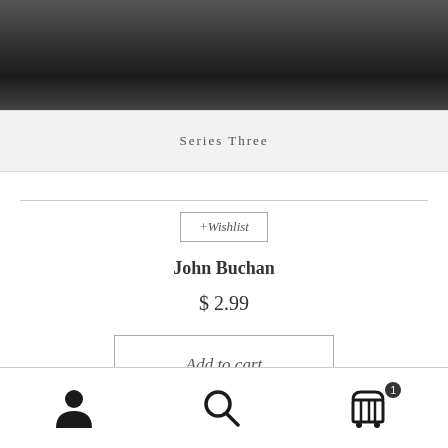[Figure (photo): Black and white photo of a person, cropped at top portion of page]
Series Three
+Wishlist
John Buchan
$ 2.99
Add to cart
Navigation footer with person icon, search icon, and cart icon with badge 1